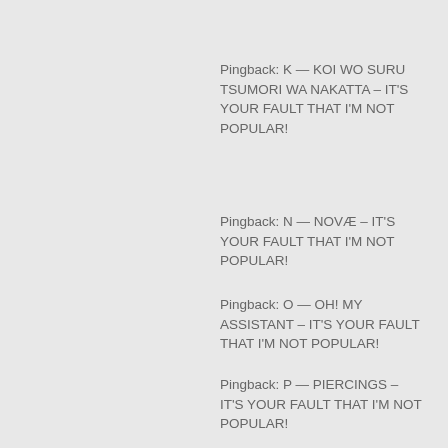Pingback: K — KOI WO SURU TSUMORI WA NAKATTA – IT'S YOUR FAULT THAT I'M NOT POPULAR!
Pingback: N — NOVÆ – IT'S YOUR FAULT THAT I'M NOT POPULAR!
Pingback: O — OH! MY ASSISTANT – IT'S YOUR FAULT THAT I'M NOT POPULAR!
Pingback: P — PIERCINGS – IT'S YOUR FAULT THAT I'M NOT POPULAR!